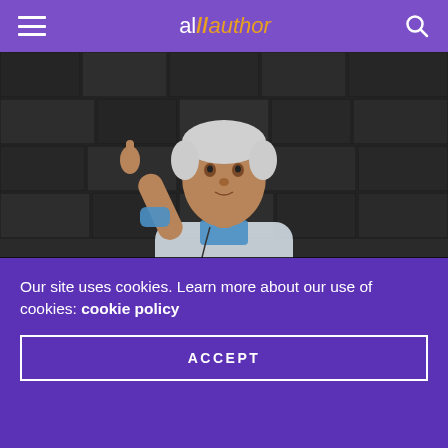allauthor
[Figure (photo): Photo of APJ Abdul Kalam with finger raised, in front of dark stone wall background. Black and white background, person in color wearing white kurta and blue suit. Image has overlay text '5 Best Quotes' in yellow on dark banner at bottom.]
QUOTES
5 ULTIMATE ABDUL KALAM QUOTES FOR IGNITING THE FIRE IN
Our site uses cookies. Learn more about our use of cookies: cookie policy
ACCEPT